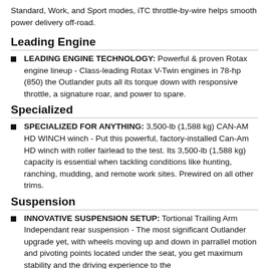Standard, Work, and Sport modes, iTC throttle-by-wire helps smooth power delivery off-road.
Leading Engine
LEADING ENGINE TECHNOLOGY: Powerful & proven Rotax engine lineup - Class-leading Rotax V-Twin engines in 78-hp (850) the Outlander puts all its torque down with responsive throttle, a signature roar, and power to spare.
Specialized
SPECIALIZED FOR ANYTHING: 3,500-lb (1,588 kg) CAN-AM HD WINCH winch - Put this powerful, factory-installed Can-Am HD winch with roller fairlead to the test. Its 3,500-lb (1,588 kg) capacity is essential when tackling conditions like hunting, ranching, mudding, and remote work sites. Prewired on all other trims.
Suspension
INNOVATIVE SUSPENSION SETUP: Tortional Trailing Arm Independant rear suspension - The most significant Outlander upgrade yet, with wheels moving up and down in parrallel motion and pivoting points located under the seat, you get maximum stability and the driving experience to the